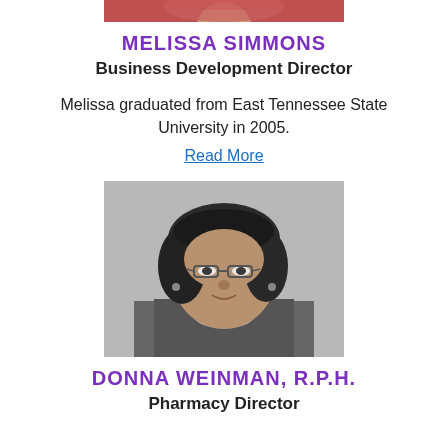[Figure (photo): Top portion of a color photo of Melissa Simmons, cropped at the top of the page showing only the top of her head/hair and red dotted top]
MELISSA SIMMONS
Business Development Director
Melissa graduated from East Tennessee State University in 2005.
Read More
[Figure (photo): Black and white headshot photo of Donna Weinman, a woman with dark shoulder-length hair, glasses, and a patterned jacket, smiling at the camera]
DONNA WEINMAN, R.P.H.
Pharmacy Director